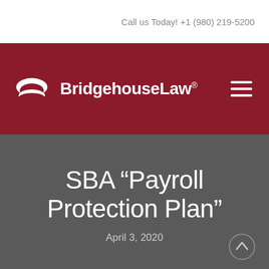Call us Today! +1 (980) 219-5200
[Figure (logo): BridgehouseLaw logo on dark red background with bridge/arch icon and hamburger menu icon]
SBA “Payroll Protection Plan”
April 3, 2020